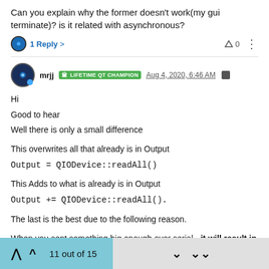Can you explain why the former doesn't work(my gui terminate)? is it related with asynchronous?
1 Reply >   ^ 0  ⋮
mrjj  LIFETIME QT CHAMPION  Aug 4, 2020, 6:46 AM
Hi
Good to hear
Well there is only a small difference

This overwrites all that already is in Output
Output = QIODevice::readAll()

This Adds to what is already is in Output
Output += QIODevice::readAll().

The last is the best due to the following reason.

When you sent something big enough over serial - it will result in multiple pieces of data
so the readyRead() will trigger more than one time.
11 out of 15